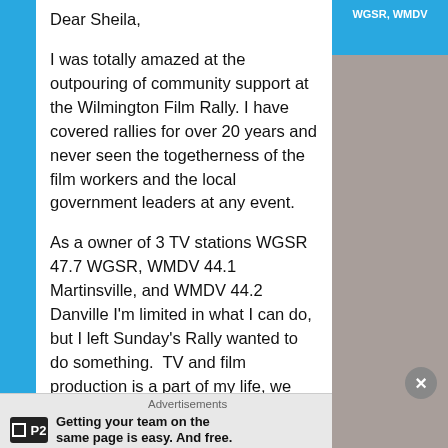WGSR, WMDV
Dear Sheila,

I was totally amazed at the outpouring of community support at the Wilmington Film Rally. I have covered rallies for over 20 years and never seen the togetherness of the film workers and the local government leaders at any event.

As a owner of 3 TV stations WGSR 47.7 WGSR, WMDV 44.1 Martinsville, and WMDV 44.2 Danville I'm limited in what I can do, but I left Sunday's Rally wanted to do something.  TV and film production is a part of my life, we also own a 5 Plex Cinema in Martinsville.

I'm also blown away with your passion for Wilmington film, most people in your business are thinking about themselves
Advertisements
Getting your team on the same page is easy. And free.